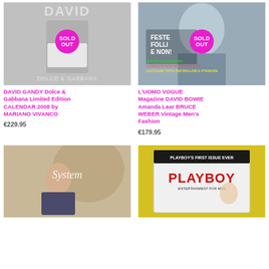[Figure (photo): DAVID GANDY Dolce & Gabbana product photo with SOLD OUT badge overlay]
DAVID GANDY Dolce & Gabbana Limited Edition CALENDAR 2008 by MARIANO VIVANCO
€229.95
[Figure (photo): L'UOMO VOGUE Magazine David Bowie cover photo with SOLD OUT badge overlay]
L'UOMO VOGUE Magazine DAVID BOWIE Amanda Lear BRUCE WEBER Vintage Men's Fashion
€179.95
[Figure (photo): System magazine cover with elderly man]
[Figure (photo): Playboy's First Issue Ever magazine in plastic wrap on yellow background]